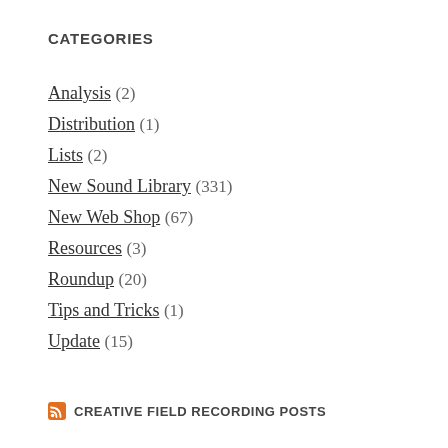CATEGORIES
Analysis (2)
Distribution (1)
Lists (2)
New Sound Library (331)
New Web Shop (67)
Resources (3)
Roundup (20)
Tips and Tricks (1)
Update (15)
CREATIVE FIELD RECORDING POSTS